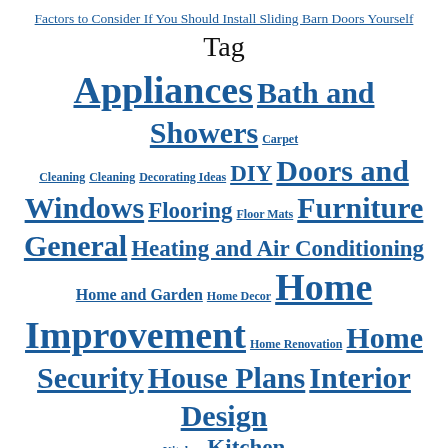Factors to Consider If You Should Install Sliding Barn Doors Yourself
Tag
Appliances Bath and Showers Carpet Cleaning Cleaning Decorating Ideas DIY Doors and Windows Flooring Floor Mats Furniture General Heating and Air Conditioning Home and Garden Home Decor Home Improvement Home Renovation Home Security House Plans Interior Design Kitchen Kitchen Improvements Landscaping Moving and Relocating Pest Control